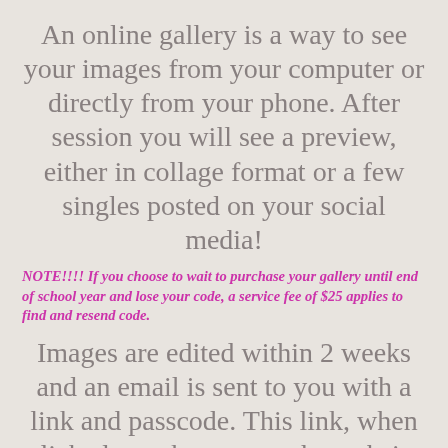An online gallery is a way to see your images from your computer or directly from your phone. After session you will see a preview, either in collage format or a few singles posted on your social media!
NOTE!!!! If you choose to wait to purchase your gallery until end of school year and lose your code, a service fee of $25 applies to find and resend code.
Images are edited within 2 weeks and an email is sent to you with a link and passcode. This link, when clicked on takes you to the website that contains your photos. Depending on if you are getting package 1 or package 2, you will